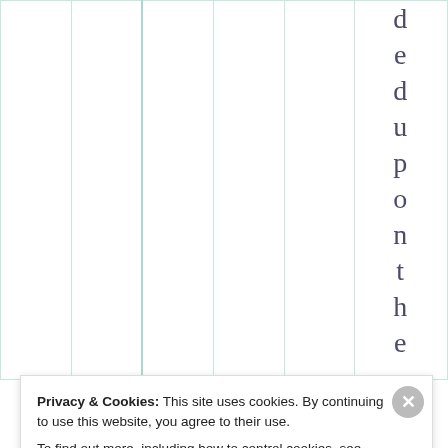|  |  |  |  |  | deduponthe |
Privacy & Cookies: This site uses cookies. By continuing to use this website, you agree to their use.
To find out more, including how to control cookies, see here: Cookie Policy
Close and accept